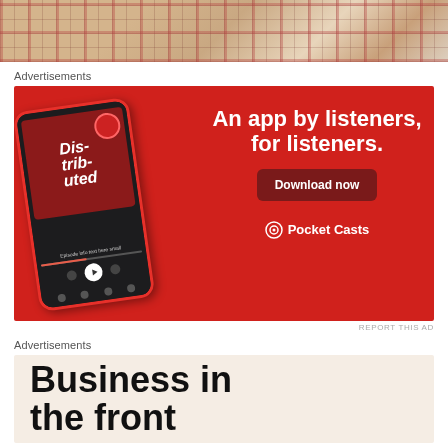[Figure (photo): Top portion of a person wearing a Burberry-style plaid/tartan jacket or scarf]
Advertisements
[Figure (illustration): Pocket Casts advertisement on red background showing a smartphone with the Distributed podcast playing. Text reads: An app by listeners, for listeners. Download now. Pocket Casts logo at bottom.]
REPORT THIS AD
Advertisements
[Figure (illustration): Advertisement with text: Business in the front... on a light beige/cream background]